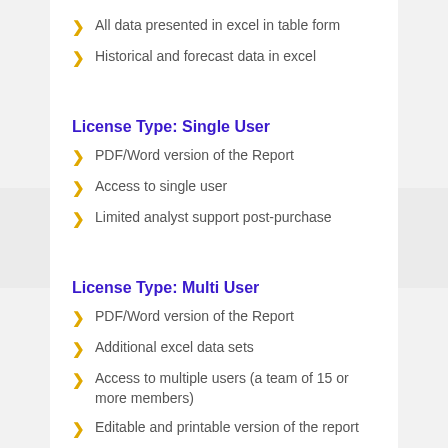All data presented in excel in table form
Historical and forecast data in excel
License Type: Single User
PDF/Word version of the Report
Access to single user
Limited analyst support post-purchase
License Type: Multi User
PDF/Word version of the Report
Additional excel data sets
Access to multiple users (a team of 15 or more members)
Editable and printable version of the report
Unlimited analyst support post-purchase